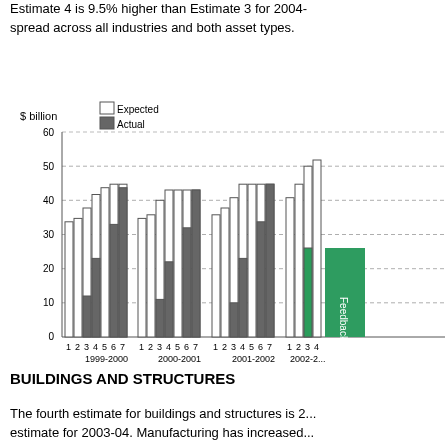Estimate 4 is 9.5% higher than Estimate 3 for 2004- spread across all industries and both asset types.
[Figure (grouped-bar-chart): ]
BUILDINGS AND STRUCTURES
The fourth estimate for buildings and structures is 2... estimate for 2003-04. Manufacturing has increased...